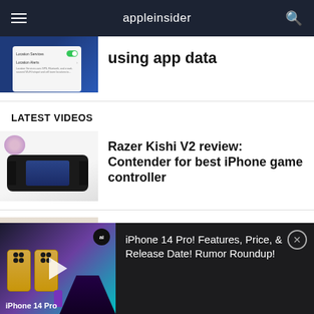appleinsider
using app data
LATEST VIDEOS
Razer Kishi V2 review: Contender for best iPhone game controller
Marshall Emberton II
[Figure (screenshot): Video player overlay showing iPhone 14 Pro with play button, ai badge, and title text]
iPhone 14 Pro! Features, Price, & Release Date! Rumor Roundup!